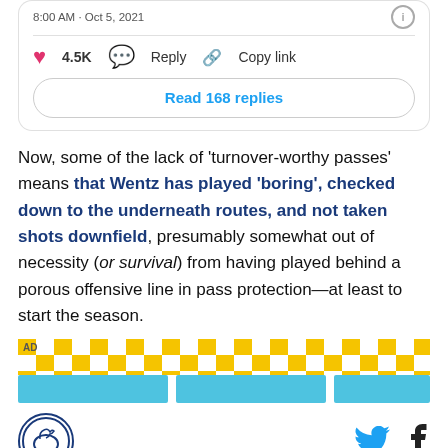8:00 AM · Oct 5, 2021
❤ 4.5K   Reply   Copy link
Read 168 replies
Now, some of the lack of 'turnover-worthy passes' means that Wentz has played 'boring', checked down to the underneath routes, and not taken shots downfield, presumably somewhat out of necessity (or survival) from having played behind a porous offensive line in pass protection—at least to start the season.
[Figure (other): AD banner with yellow and blue checkerboard pattern]
[Figure (logo): SBNation/Horseshoe site logo circular badge]
[Figure (other): Twitter and Facebook social share icons]